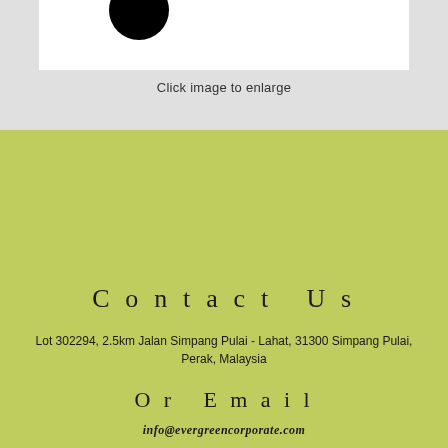[Figure (photo): Partial view of a black circular logo or object on white background]
Click image to enlarge
Contact Us
Lot 302294, 2.5km Jalan Simpang Pulai - Lahat, 31300 Simpang Pulai, Perak, Malaysia
Or Email
info@evergreencorporate.com